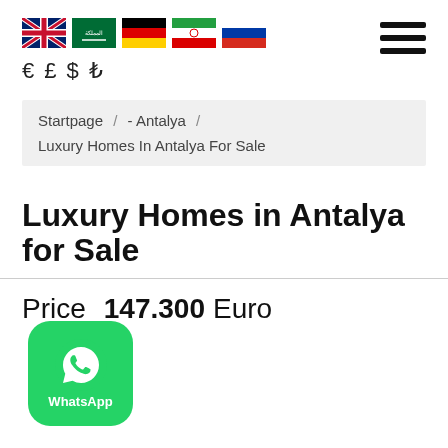[Figure (other): Navigation header with flag icons (UK, Saudi Arabia, Germany, Iran, Russia) and currency symbols (€ £ $ ₺) on the left, hamburger menu on the right]
Startpage / - Antalya / Luxury Homes In Antalya For Sale
Luxury Homes in Antalya for Sale
Price  147.300 Euro
[Figure (logo): WhatsApp button - green rounded square with WhatsApp icon and text 'WhatsApp']